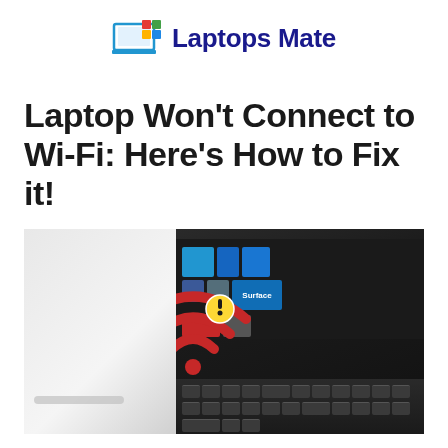[Figure (logo): Laptops Mate logo with laptop icon and colorful squares, blue text]
Laptop Won't Connect to Wi-Fi: Here's How to Fix it!
[Figure (photo): Laptop with Windows Surface tiles on screen and a red Wi-Fi icon with exclamation mark warning symbol overlaid in the foreground]